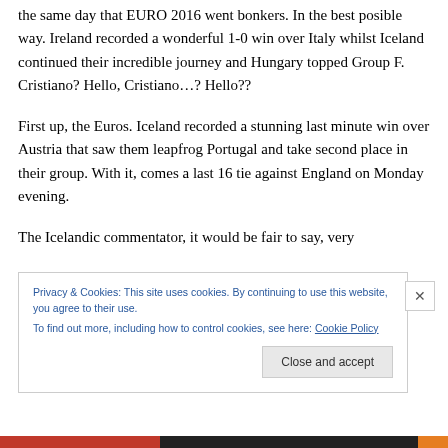the same day that EURO 2016 went bonkers. In the best posible way. Ireland recorded a wonderful 1-0 win over Italy whilst Iceland continued their incredible journey and Hungary topped Group F. Cristiano? Hello, Cristiano…? Hello??
First up, the Euros. Iceland recorded a stunning last minute win over Austria that saw them leapfrog Portugal and take second place in their group. With it, comes a last 16 tie against England on Monday evening.
The Icelandic commentator, it would be fair to say, very
Privacy & Cookies: This site uses cookies. By continuing to use this website, you agree to their use.
To find out more, including how to control cookies, see here: Cookie Policy